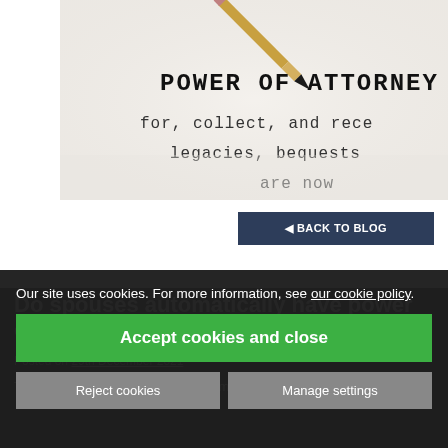[Figure (photo): Close-up photograph of a Power of Attorney document with a pencil pointing to the title. Visible text on the document includes 'POWER OF ATTORNEY', 'for, collect, and rece', 'legacies, bequests', 'are now'.]
◄ BACK TO BLOG
Do spouses automatically have power of atto...
Posted on 29th December 2021
This content will be shown in the summary on the main bl...
Our site uses cookies. For more information, see our cookie policy.
Accept cookies and close
Reject cookies
Manage settings